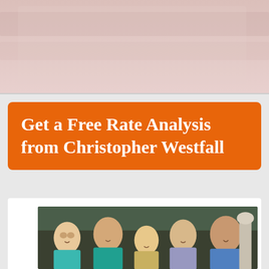[Figure (photo): Hero banner image with soft reddish-pink background showing fabric/cloth texture with 'Plan G' text overlay in bold black]
Plan G
Get a Free Rate Analysis from Christopher Westfall
[Figure (photo): Family photo showing five people including teenagers and adults smiling together outdoors]